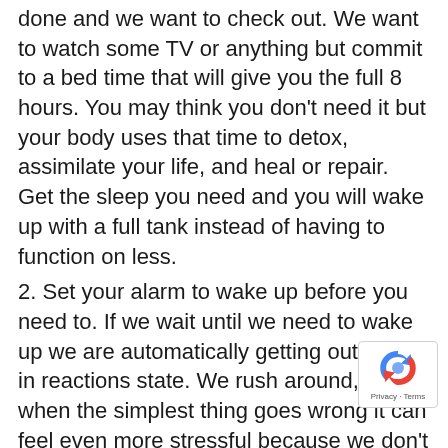done and we want to check out. We want to watch some TV or anything but commit to a bed time that will give you the full 8 hours. You may think you don't need it but your body uses that time to detox, assimilate your life, and heal or repair. Get the sleep you need and you will wake up with a full tank instead of having to function on less.
2. Set your alarm to wake up before you need to. If we wait until we need to wake up we are automatically getting out of bed in reactions state. We rush around, and when the simplest thing goes wrong it can feel even more stressful because we don't have the time to deal with it. i.e. a spilled glass of juice or misplaced car keys that are actually in your pocket.
3. Breath – when is the last time you took a